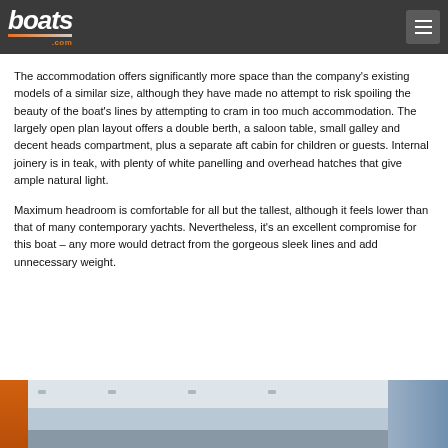boats.com
The accommodation offers significantly more space than the company's existing models of a similar size, although they have made no attempt to risk spoiling the beauty of the boat's lines by attempting to cram in too much accommodation. The largely open plan layout offers a double berth, a saloon table, small galley and decent heads compartment, plus a separate aft cabin for children or guests. Internal joinery is in teak, with plenty of white panelling and overhead hatches that give ample natural light.
Maximum headroom is comfortable for all but the tallest, although it feels lower than that of many contemporary yachts. Nevertheless, it's an excellent compromise for this boat – any more would detract from the gorgeous sleek lines and add unnecessary weight.
[Figure (photo): Interior photo of a boat cabin showing white ceiling panels with overhead hatches, teak joinery, and light-colored walls. Part of an orange life jacket or sail cover is visible on the left edge.]